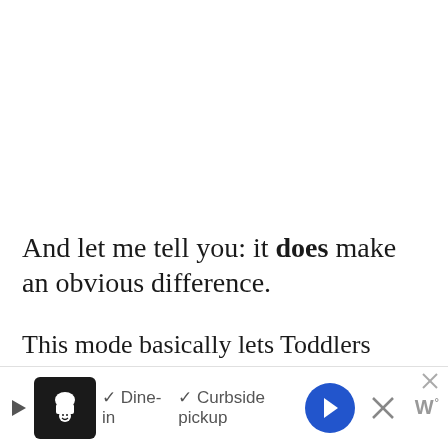And let me tell you: it does make an obvious difference.
This mode basically lets Toddlers autonomously use 11 Social Interactions (that were previously only possible when specifically selected). With this mod they can now talk about trucks, princesses, toys, parties, or their favorite color without you prompting them to. So you can kiss tha...
[Figure (other): Advertisement banner at bottom of page showing a restaurant ad with chef icon, Dine-in and Curbside pickup options, navigation arrow icon, close X button, and W logo]